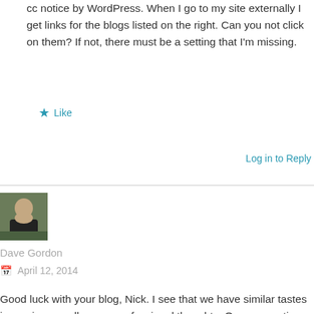cc notice by WordPress. When I go to my site externally I get links for the blogs listed on the right. Can you not click on them? If not, there must be a setting that I'm missing.
Like
Log in to Reply
[Figure (photo): Avatar photo of Dave Gordon, a person in a black shirt outdoors]
Dave Gordon
April 12, 2014
Good luck with your blog, Nick. I see that we have similar tastes in music, as well as our professional thoughts. One suggestion: provide an RSS feed icon so that folks can subscribe using their favorite reader. If you're not using the Jetpack plugin for WordPress, I recommend you check it out. It will let you add a lot of features to your site, for free.